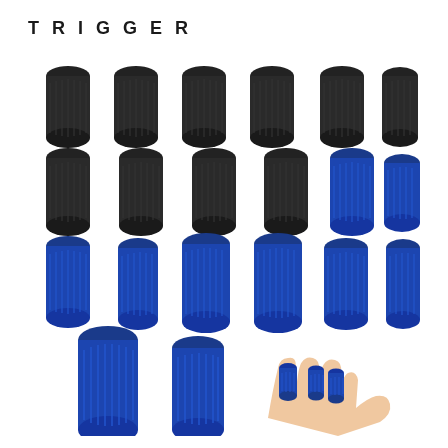TRIGGER
[Figure (photo): Product photo showing finger sleeves/support tubes in black and blue colors. Top two rows show 6 black finger sleeves each, middle row shows 4 black and 2 blue finger sleeves, third row shows 6 blue finger sleeves, and bottom row shows 2 larger blue finger sleeves alongside a hand model wearing blue finger sleeves on fingers.]